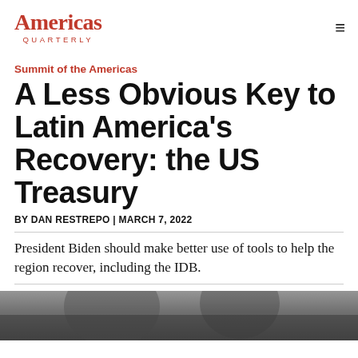Americas Quarterly
Summit of the Americas
A Less Obvious Key to Latin America's Recovery: the US Treasury
BY DAN RESTREPO | MARCH 7, 2022
President Biden should make better use of tools to help the region recover, including the IDB.
[Figure (photo): Black and white photograph partially visible at bottom of page]